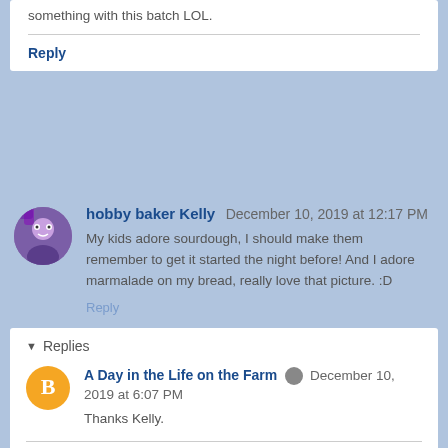something with this batch LOL.
Reply
hobby baker Kelly   December 10, 2019 at 12:17 PM
My kids adore sourdough, I should make them remember to get it started the night before! And I adore marmalade on my bread, really love that picture. :D
Reply
Replies
A Day in the Life on the Farm   December 10, 2019 at 6:07 PM
Thanks Kelly.
Reply